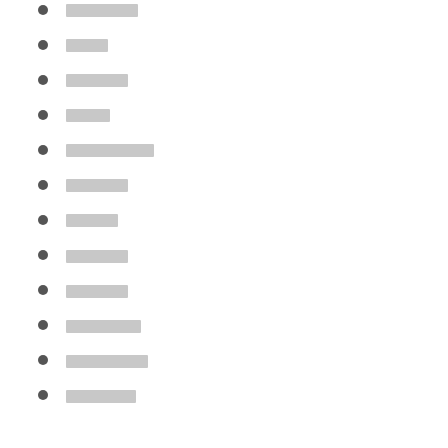[redacted]
[redacted]
[redacted]
[redacted]
[redacted]
[redacted]
[redacted]
[redacted]
[redacted]
[redacted]
[redacted]
[redacted]